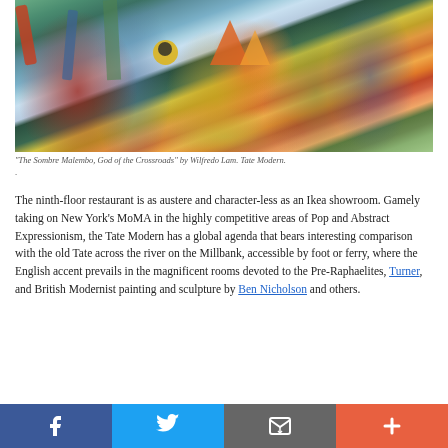[Figure (photo): Abstract expressionist painting 'The Sombre Malembo, God of the Crossroads' by Wilfredo Lam, showing colorful surrealist figures in greens, blues, yellows, oranges, and reds]
"The Sombre Malembo, God of the Crossroads" by Wilfredo Lam. Tate Modern.
.
The ninth-floor restaurant is as austere and character-less as an Ikea showroom. Gamely taking on New York's MoMA in the highly competitive areas of Pop and Abstract Expressionism, the Tate Modern has a global agenda that bears interesting comparison with the old Tate across the river on the Millbank, accessible by foot or ferry, where the English accent prevails in the magnificent rooms devoted to the Pre-Raphaelites, Turner, and British Modernist painting and sculpture by Ben Nicholson and others.
[Figure (other): Social media sharing bar with Facebook, Twitter, email/envelope, and plus buttons]